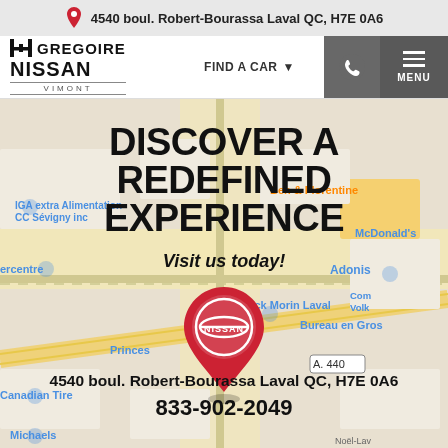4540 boul. Robert-Bourassa Laval QC, H7E 0A6
[Figure (logo): Gregoire Nissan Vimont dealership logo with H icon]
FIND A CAR
[Figure (map): Google Maps view showing Gregoire Nissan Vimont location at 4540 boul. Robert-Bourassa, Laval QC with surrounding businesses including IGA extra, Canadian Tire, McDonald's, Adonis, Bureau en Gros, Ben & Florentine, Patrick Morin Laval, and highway A. 440]
DISCOVER A REDEFINED EXPERIENCE
Visit us today!
4540 boul. Robert-Bourassa Laval QC, H7E 0A6
833-902-2049